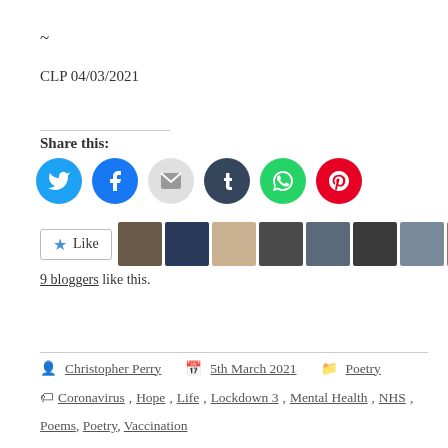~
CLP 04/03/2021
Share this:
[Figure (infographic): Social share icons: Twitter (blue), Facebook (blue), Email (grey), Tumblr (dark), WhatsApp (green), Pinterest (red)]
[Figure (infographic): Like button with star icon and 9 blogger avatar thumbnails]
9 bloggers like this.
Christopher Perry  5th March 2021  Poetry  Coronavirus, Hope, Life, Lockdown 3, Mental Health, NHS, Poems, Poetry, Vaccination